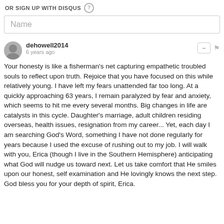OR SIGN UP WITH DISQUS ?
Name
dehowell2014
6 years ago
Your honesty is like a fisherman's net capturing empathetic troubled souls to reflect upon truth. Rejoice that you have focused on this while relatively young. I have left my fears unattended far too long. At a quickly approaching 63 years, I remain paralyzed by fear and anxiety, which seems to hit me every several months. Big changes in life are catalysts in this cycle. Daughter's marriage, adult children residing overseas, health issues, resignation from my career... Yet, each day I am searching God's Word, something I have not done regularly for years because I used the excuse of rushing out to my job. I will walk with you, Erica (though I live in the Southern Hemisphere) anticipating what God will nudge us toward next. Let us take comfort that He smiles upon our honest, self examination and He lovingly knows the next step. God bless you for your depth of spirit, Erica.